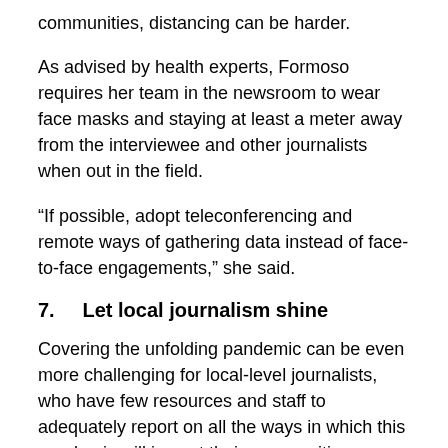communities, distancing can be harder.
As advised by health experts, Formoso requires her team in the newsroom to wear face masks and staying at least a meter away from the interviewee and other journalists when out in the field.
“If possible, adopt teleconferencing and remote ways of gathering data instead of face-to-face engagements,” she said.
7.    Let local journalism shine
Covering the unfolding pandemic can be even more challenging for local-level journalists, who have few resources and staff to adequately report on all the ways in which this pandemic will impact their communities.